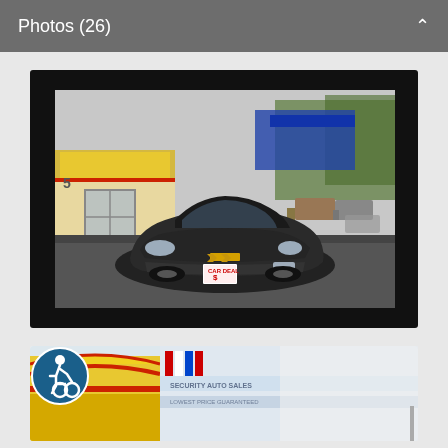Photos (26)
[Figure (photo): Dark colored Chevrolet Cruze sedan photographed at a car dealership lot. The car is shown from a front 3/4 angle. Behind the car is a dealership building with yellow and red signage. The car has a dealer plate on the front.]
[Figure (photo): Partial view of a second photo showing the dealership signage with yellow and red colors, with banners/flags visible. An accessibility wheelchair icon is overlaid in the lower left corner.]